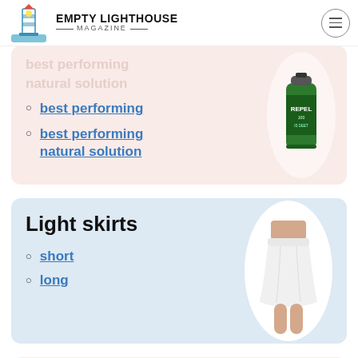Empty Lighthouse Magazine
best performing
best performing natural solution
Light skirts
short
long
Short pants or heavy shorts